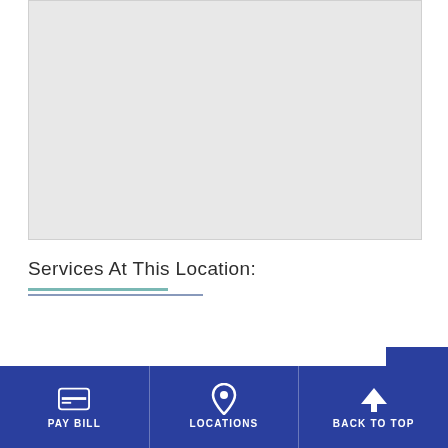[Figure (map): Gray map placeholder area showing a geographic map view]
Services At This Location:
[Figure (other): Accessibility button with person/human icon in dark blue]
PAY BILL | LOCATIONS | BACK TO TOP